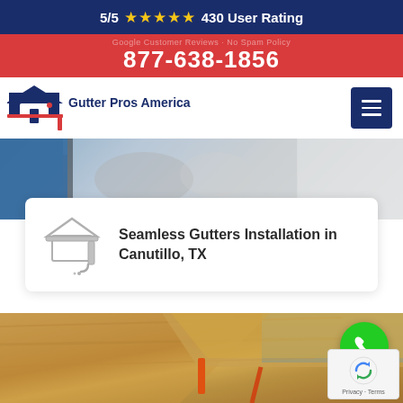5/5 ★★★★★ 430 User Rating
877-638-1856
[Figure (logo): Gutter Pros America logo with house icon and red text]
[Figure (photo): Close-up photo of gutter installation on roof eaves, top portion]
Seamless Gutters Installation in Canutillo, TX
[Figure (photo): Close-up photo of wooden roof rafters and gutter with blue sky in background]
[Figure (other): Green circular phone/call button overlay on photo]
[Figure (other): Google reCAPTCHA badge with Privacy and Terms links]